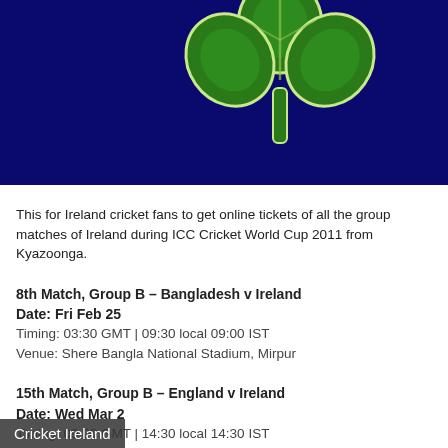[Figure (illustration): Cricket Ireland logo — green shamrock on dark navy blue background]
Cricket Ireland
This for Ireland cricket fans to get online tickets of all the group matches of Ireland during ICC Cricket World Cup 2011 from Kyazoonga.
8th Match, Group B – Bangladesh v Ireland
Date: Fri Feb 25
Timing: 03:30 GMT | 09:30 local 09:00 IST
Venue: Shere Bangla National Stadium, Mirpur
15th Match, Group B – England v Ireland
Date: Wed Mar 2
Timing: 09:00 GMT | 14:30 local 14:30 IST
M Chinnaswamy Stadium, Bangalore
22nd Match, Group B – India v Ireland